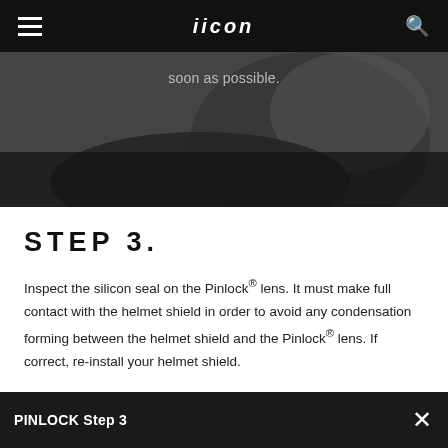≡  ICON  🔍
[Figure (photo): Dark background photo of a person handling a helmet shield/Pinlock lens, partially visible. Text overlay reads 'soon as possible.']
STEP 3.
Inspect the silicon seal on the Pinlock® lens. It must make full contact with the helmet shield in order to avoid any condensation forming between the helmet shield and the Pinlock® lens. If correct, re-install your helmet shield.
PINLOCK Step 3